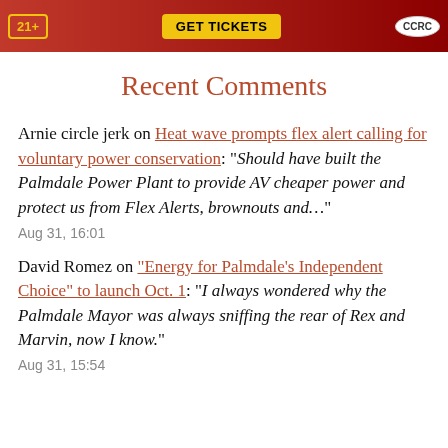[Figure (photo): Red banner advertisement with '21+' badge on left, yellow 'GET TICKETS' button in center, and 'CCRC' circular badge on right]
Recent Comments
Arnie circle jerk on Heat wave prompts flex alert calling for voluntary power conservation: “Should have built the Palmdale Power Plant to provide AV cheaper power and protect us from Flex Alerts, brownouts and…”
Aug 31, 16:01
David Romez on “Energy for Palmdale’s Independent Choice” to launch Oct. 1: “I always wondered why the Palmdale Mayor was always sniffing the rear of Rex and Marvin, now I know.”
Aug 31, 15:54